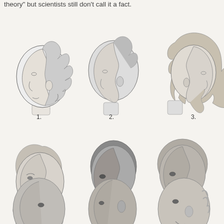theory" but scientists still don't call it a fact.
[Figure (illustration): A scientific illustration showing nine human head profiles in three rows of three. Row 1 (labeled 1, 2, 3): classical Greek-style head with curly hair, a bald/closely shorn head, and a head with long wild hair and beard. Row 2 (labeled 4, 5, 6): a heavily bearded figure, and two African-featured profiles. Row 3 (partial, unlabeled): three more profiles partially visible at the bottom of the page. The figures are black-and-white engraving style drawings.]